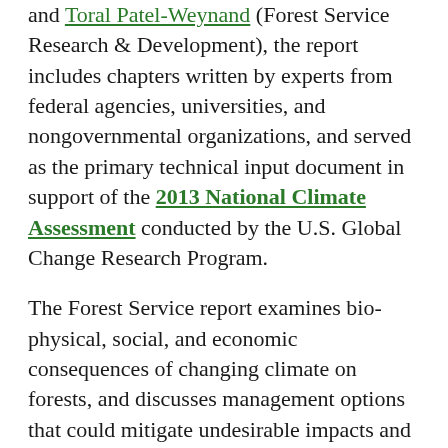and Toral Patel-Weynand (Forest Service Research & Development), the report includes chapters written by experts from federal agencies, universities, and nongovernmental organizations, and served as the primary technical input document in support of the 2013 National Climate Assessment conducted by the U.S. Global Change Research Program.
The Forest Service report examines bio-physical, social, and economic consequences of changing climate on forests, and discusses management options that could mitigate undesirable impacts and help forests adapt to climate change. Because climate change effects and management responses can vary regionally, the report includes a section that highlights regional impacts and issues. Key findings from the synthesis include:
Climate change will have significant impacts on the Nation's forests and how we manage them.